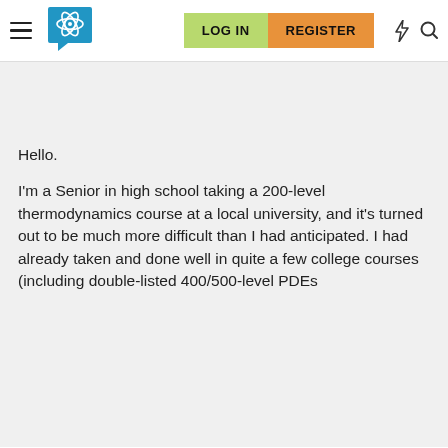[Figure (screenshot): Website navigation bar with hamburger menu, atom/brain logo, LOG IN button (green), REGISTER button (orange), lightning bolt icon, and search icon]
Hello.
I'm a Senior in high school taking a 200-level thermodynamics course at a local university, and it's turned out to be much more difficult than I had anticipated. I had already taken and done well in quite a few college courses (including double-listed 400/500-level PDEs